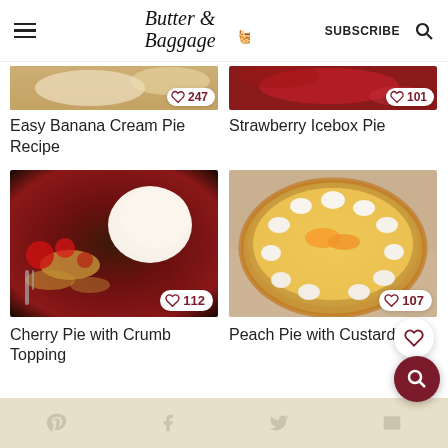Butter & Baggage | SUBSCRIBE
[Figure (screenshot): Cropped top portion of banana cream pie recipe image with heart/like badge showing 247]
Easy Banana Cream Pie Recipe
[Figure (screenshot): Cropped top portion of strawberry icebox pie image with heart/like badge showing 101]
Strawberry Icebox Pie
[Figure (photo): Cherry pie with crumb topping and ice cream scoop, with heart/like badge showing 112]
Cherry Pie with Crumb Topping
[Figure (photo): Peach pie with custard topped with whipped cream rosettes and peach slices, with heart/like badge showing 107]
Peach Pie with Custard
Social media sharing icons: Pinterest, Facebook, Twitter, Email